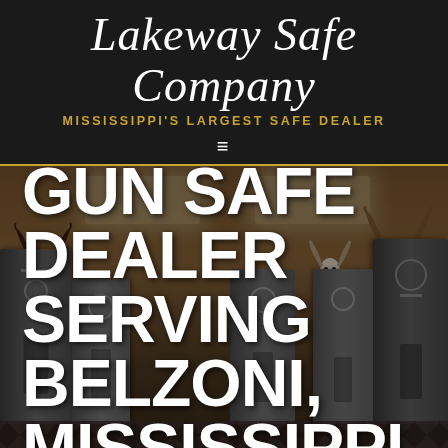Lakeway Safe Company
MISSISSIPPI'S LARGEST SAFE DEALER
[Figure (photo): Interior of a gun safe store with large metal safes on either side, mounted deer/animal heads on wood-paneled walls, checkered floor, and recessed ceiling lights]
LARGEST GUN SAFE DEALER SERVING BELZONI, MISSISSIPPI